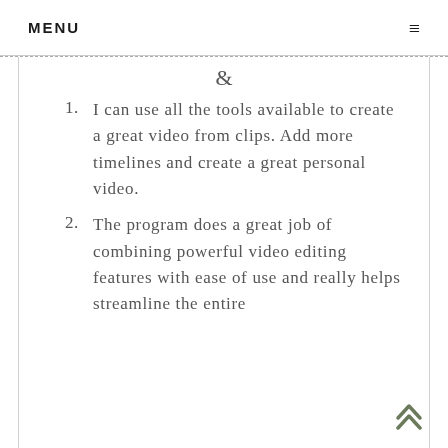MENU ≡
I can use all the tools available to create a great video from clips. Add more timelines and create a great personal video.
The program does a great job of combining powerful video editing features with ease of use and really helps streamline the entire